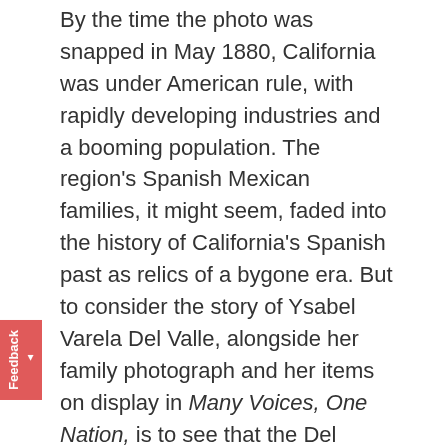By the time the photo was snapped in May 1880, California was under American rule, with rapidly developing industries and a booming population. The region's Spanish Mexican families, it might seem, faded into the history of California's Spanish past as relics of a bygone era. But to consider the story of Ysabel Varela Del Valle, alongside her family photograph and her items on display in Many Voices, One Nation, is to see that the Del Valles were very much engaged with California's development and their rancho flourished in the late 19th century under Ysabel's direction.
Ysabel Varela married Ygnacio Del Valle in 1851, just three years after the signing of the Treaty of Guadalupe Hidalgo, the agreement between the United States and Mexico that ended the U.S.–Mexican War and ensured Mexican residents of California the rights of citizenship (should they